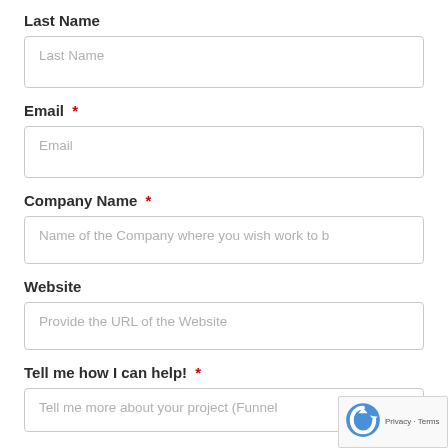Last Name
Last Name (placeholder)
Email *
Email (placeholder)
Company Name *
Name of the Company where you wish work to b (placeholder)
Website
Provide the URL of the Website (placeholder)
Tell me how I can help! *
Tell me more about your project (Funnel (placeholder)